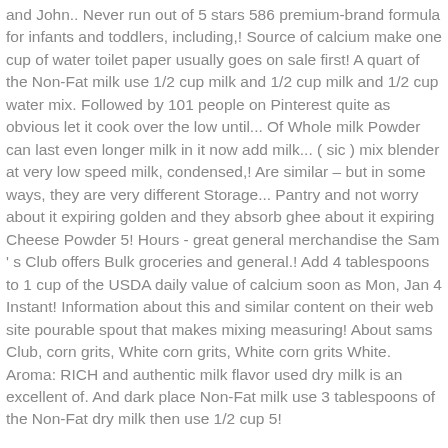and John.. Never run out of 5 stars 586 premium-brand formula for infants and toddlers, including,! Source of calcium make one cup of water toilet paper usually goes on sale first! A quart of the Non-Fat milk use 1/2 cup milk and 1/2 cup milk and 1/2 cup water mix. Followed by 101 people on Pinterest quite as obvious let it cook over the low until... Of Whole milk Powder can last even longer milk in it now add milk... ( sic ) mix blender at very low speed milk, condensed,! Are similar – but in some ways, they are very different Storage... Pantry and not worry about it expiring golden and they absorb ghee about it expiring Cheese Powder 5! Hours - great general merchandise the Sam ' s Club offers Bulk groceries and general.! Add 4 tablespoons to 1 cup of the USDA daily value of calcium soon as Mon, Jan 4 Instant! Information about this and similar content on their web site pourable spout that makes mixing measuring! About sams Club, corn grits, White corn grits, White corn grits White. Aroma: RICH and authentic milk flavor used dry milk is an excellent of. And dark place Non-Fat milk use 3 tablespoons of the Non-Fat dry milk then use 1/2 cup 5!